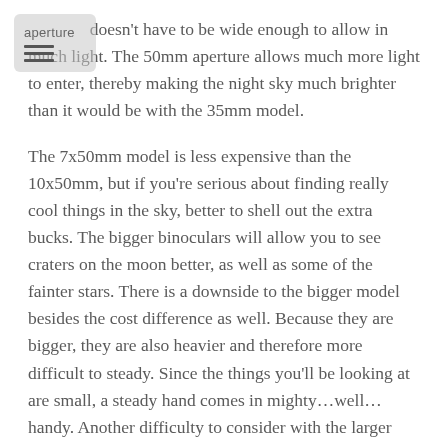[Figure (other): Navigation icon with 'aperture' text label and hamburger menu icon, semi-transparent grey rounded rectangle]
aperture doesn't have to be wide enough to allow in much light. The 50mm aperture allows much more light to enter, thereby making the night sky much brighter than it would be with the 35mm model.
The 7x50mm model is less expensive than the 10x50mm, but if you're serious about finding really cool things in the sky, better to shell out the extra bucks. The bigger binoculars will allow you to see craters on the moon better, as well as some of the fainter stars. There is a downside to the bigger model besides the cost difference as well. Because they are bigger, they are also heavier and therefore more difficult to steady. Since the things you'll be looking at are small, a steady hand comes in mighty…well…handy. Another difficulty to consider with the larger model is you have to press your eyes closer to the eyepiece and this can be somewhat uncomfortable.
One way to avoid this problem, of course, is by mounting the binoculars. You can buy a low cost tripod on which to mount binoculars. In addition to solving the problems of discomfort associated with holding the heavier models, a mount will also allow you to observe more detail.